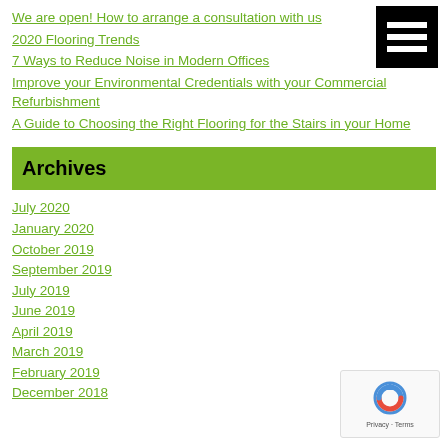We are open! How to arrange a consultation with us
2020 Flooring Trends
7 Ways to Reduce Noise in Modern Offices
Improve your Environmental Credentials with your Commercial Refurbishment
A Guide to Choosing the Right Flooring for the Stairs in your Home
Archives
July 2020
January 2020
October 2019
September 2019
July 2019
June 2019
April 2019
March 2019
February 2019
December 2018